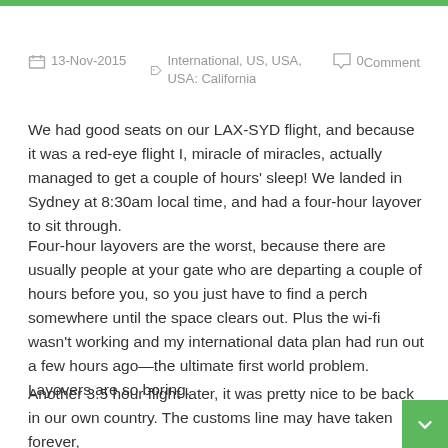13-Nov-2015  International, US, USA, USA: California  0 Comment
We had good seats on our LAX-SYD flight, and because it was a red-eye flight I, miracle of miracles, actually managed to get a couple of hours’ sleep! We landed in Sydney at 8:30am local time, and had a four-hour layover to sit through.
Four-hour layovers are the worst, because there are usually people at your gate who are departing a couple of hours before you, so you just have to find a perch somewhere until the space clears out. Plus the wi-fi wasn’t working and my international data plan had run out a few hours ago—the ultimate first world problem. Layovers are so boring.
Another 3.5 hour flight later, it was pretty nice to be back in our own country. The customs line may have taken forever, but we got to have lots of conversations about the giant